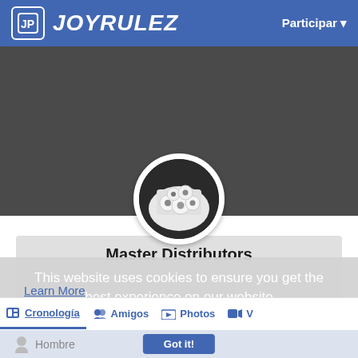JOYRULEZ — Participar
[Figure (screenshot): Joyrulez social network profile page screenshot showing cover photo, profile picture of paper rolls, navigation tabs (Cronología, Amigos, Photos, Videos), cookie consent overlay, and Hombre profile field]
Master Distributors
This website uses cookies to ensure you get the best experience on our website
Learn More
Got it!
Cronología
Amigos
Photos
Hombre